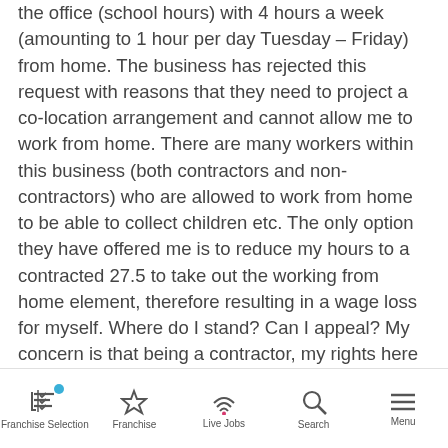the office (school hours) with 4 hours a week (amounting to 1 hour per day Tuesday – Friday) from home. The business has rejected this request with reasons that they need to project a co-location arrangement and cannot allow me to work from home. There are many workers within this business (both contractors and non-contractors) who are allowed to work from home to be able to collect children etc. The only option they have offered me is to reduce my hours to a contracted 27.5 to take out the working from home element, therefore resulting in a wage loss for myself. Where do I stand? Can I appeal? My concern is that being a contractor, my rights here may be different. Thanks.
Franchise Selection | Franchise | Live Jobs | Search | Menu